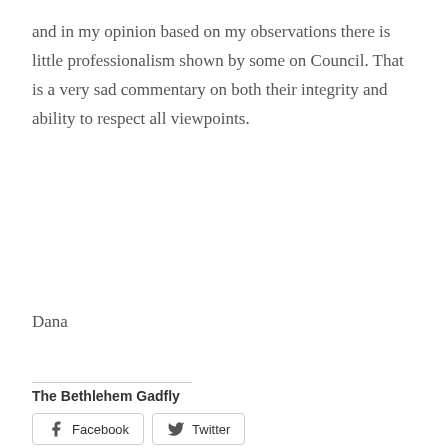and in my opinion based on my observations there is little professionalism shown by some on Council. That is a very sad commentary on both their integrity and ability to respect all viewpoints.
Dana
The Bethlehem Gadfly
[Figure (other): Share buttons for Facebook and Twitter]
The Bethlehem Gadfly  2 W. Market St., Serious Issues  1 Comment  December 30, 2018  1 Minute